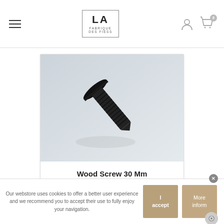LA FABRIQUE DES FIESS — navigation header with hamburger menu, logo, user icon, cart icon (0)
[Figure (photo): Close-up photo of a black wood screw on light blue-grey background, showing the flat/countersunk head and threaded shaft diagonally]
Wood Screw 30 Mm
€0.20
ADD TO CART
Our webstore uses cookies to offer a better user experience and we recommend you to accept their use to fully enjoy your navigation.
I accept
More inform